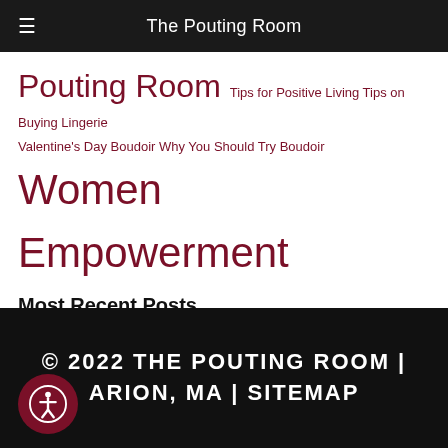The Pouting Room
Pouting Room Tips for Positive Living Tips on Buying Lingerie Valentine's Day Boudoir Why You Should Try Boudoir Women Empowerment
Most Recent Posts
Common Myths about Boudoir Photography
How to Not Lose Yourself in Motherhood
How to Feel Comfortable and Confident in Front of the Camera
© 2022 THE POUTING ROOM | MARION, MA | SITEMAP